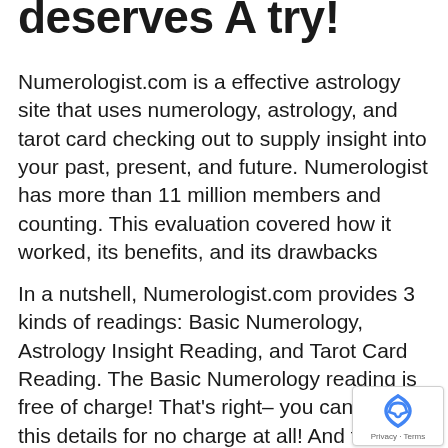deserves A try!
Numerologist.com is a effective astrology site that uses numerology, astrology, and tarot card checking out to supply insight into your past, present, and future. Numerologist has more than 11 million members and counting. This evaluation covered how it worked, its benefits, and its drawbacks
In a nutshell, Numerologist.com provides 3 kinds of readings: Basic Numerology, Astrology Insight Reading, and Tarot Card Reading. The Basic Numerology reading is free of charge! That’s right– you can access this details for no charge at all! And the Astrology Insight Reading also comes wit complimentary trial that enables you to